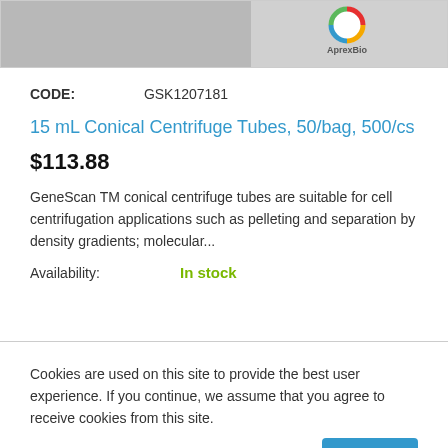[Figure (logo): AprexBio logo with colorful circle icon above gray product image background]
CODE:    GSK1207181
15 mL Conical Centrifuge Tubes, 50/bag, 500/cs
$113.88
GeneScan TM conical centrifuge tubes are suitable for cell centrifugation applications such as pelleting and separation by density gradients; molecular...
Availability:    In stock
Cookies are used on this site to provide the best user experience. If you continue, we assume that you agree to receive cookies from this site.